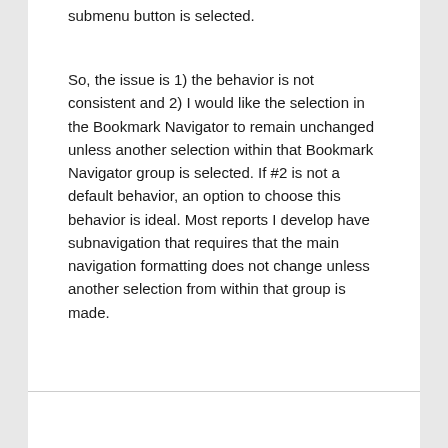submenu button is selected.
So, the issue is 1) the behavior is not consistent and 2) I would like the selection in the Bookmark Navigator to remain unchanged unless another selection within that Bookmark Navigator group is selected. If #2 is not a default behavior, an option to choose this behavior is ideal. Most reports I develop have subnavigation that requires that the main navigation formatting does not change unless another selection from within that group is made.